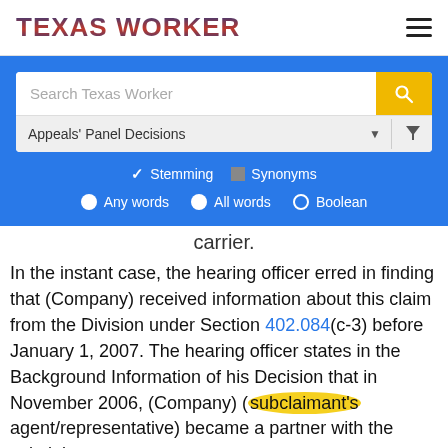TEXAS WORKER
[Figure (screenshot): Search interface with search bar showing 'Search Texas Worker', dropdown for 'Appeals' Panel Decisions', Stemming/Synonyms checkboxes, and Any words/All words/Boolean radio buttons]
carrier.
In the instant case, the hearing officer erred in finding that (Company) received information about this claim from the Division under Section 402.084(c-3) before January 1, 2007. The hearing officer states in the Background Information of his Decision that in November 2006, (Company) (subclaimant's agent/representative) became a partner with the subclaimant